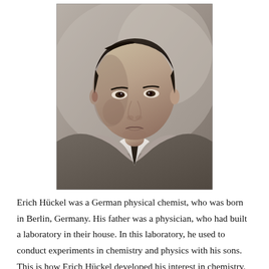[Figure (photo): Black and white portrait photograph of Erich Hückel, a German physical chemist, showing a young man in a suit and tie looking slightly to the side.]
Erich Hückel was a German physical chemist, who was born in Berlin, Germany. His father was a physician, who had built a laboratory in their house. In this laboratory, he used to conduct experiments in chemistry and physics with his sons. This is how Erich Hückel developed his interest in chemistry. He is one of the most celebrated scientists of the 20th century...